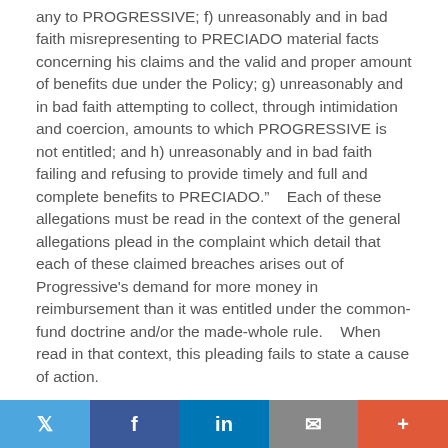any to PROGRESSIVE; f) unreasonably and in bad faith misrepresenting to PRECIADO material facts concerning his claims and the valid and proper amount of benefits due under the Policy; g) unreasonably and in bad faith attempting to collect, through intimidation and coercion, amounts to which PROGRESSIVE is not entitled; and h) unreasonably and in bad faith failing and refusing to provide timely and full and complete benefits to PRECIADO." Each of these allegations must be read in the context of the general allegations plead in the complaint which detail that each of these claimed breaches arises out of Progressive's demand for more money in reimbursement than it was entitled under the common-fund doctrine and/or the made-whole rule. When read in that context, this pleading fails to state a cause of action.

“Every contract imposes on each party an implied duty of
Twitter | Facebook | LinkedIn | Email | More